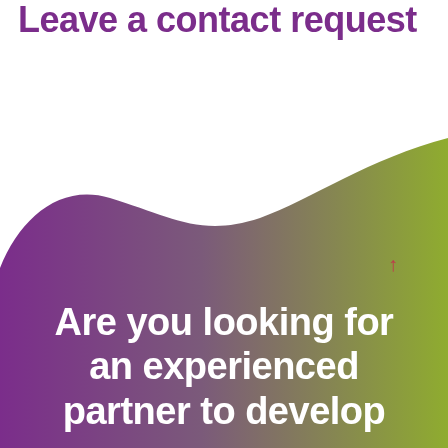Leave a contact request
[Figure (illustration): Large organic blob shape with purple-to-olive-green gradient filling the bottom two-thirds of the page, with a small pink/red upward arrow on the right side]
Are you looking for an experienced partner to develop